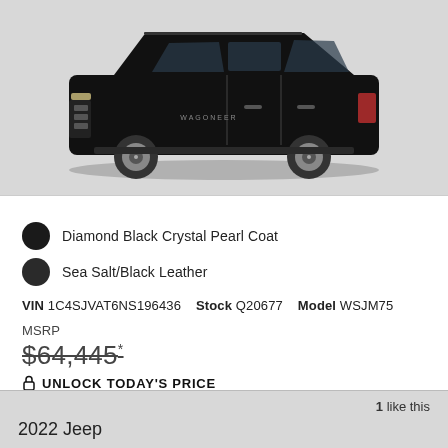[Figure (photo): Black 2022 Jeep Grand Wagoneer SUV shown from side profile against light gray background]
Diamond Black Crystal Pearl Coat
Sea Salt/Black Leather
VIN 1C4SJVAT6NS196436   Stock Q20677   Model WSJM75
MSRP
$64,445*
UNLOCK TODAY'S PRICE
Drivetrain Four-Wheel Drive
1 like this
2022 Jeep